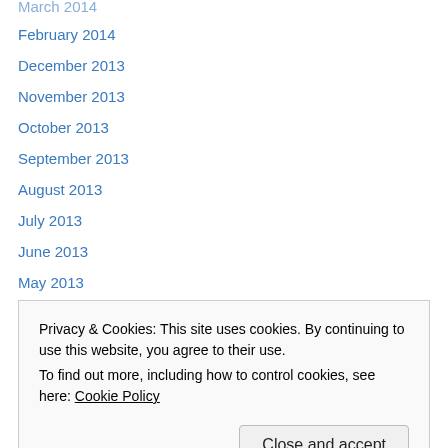March 2014
February 2014
December 2013
November 2013
October 2013
September 2013
August 2013
July 2013
June 2013
May 2013
April 2013
March 2013
February 2013
January 2013
July 2012
Privacy & Cookies: This site uses cookies. By continuing to use this website, you agree to their use.
To find out more, including how to control cookies, see here: Cookie Policy